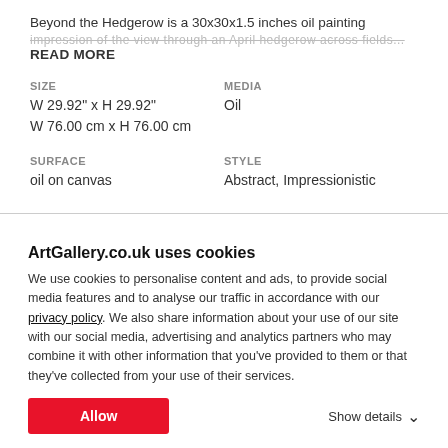Beyond the Hedgerow is a 30x30x1.5 inches oil painting
impression of the view through an April hedgerow across fields...
READ MORE
SIZE
W 29.92" x H 29.92"
W 76.00 cm x H 76.00 cm
MEDIA
Oil
SURFACE
oil on canvas
STYLE
Abstract, Impressionistic
ArtGallery.co.uk uses cookies
We use cookies to personalise content and ads, to provide social media features and to analyse our traffic in accordance with our privacy policy. We also share information about your use of our site with our social media, advertising and analytics partners who may combine it with other information that you've provided to them or that they've collected from your use of their services.